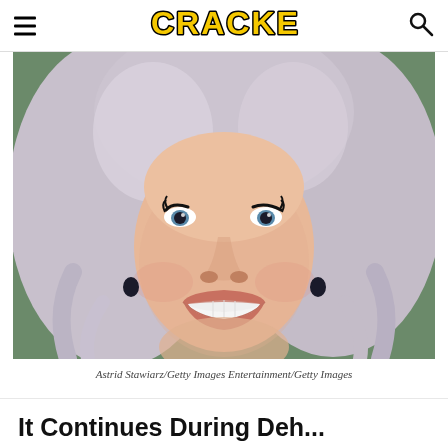CRACKED
[Figure (photo): Close-up photo of a woman with voluminous silver-blonde hair, laughing with mouth wide open, wearing dark earrings. Photo credit: Astrid Stawiarz/Getty Images Entertainment/Getty Images]
Astrid Stawiarz/Getty Images Entertainment/Getty Images
It Continues During Deh...